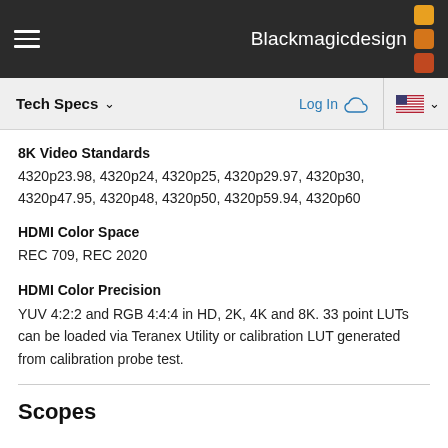Blackmagicdesign
Tech Specs
8K Video Standards
4320p23.98, 4320p24, 4320p25, 4320p29.97, 4320p30, 4320p47.95, 4320p48, 4320p50, 4320p59.94, 4320p60
HDMI Color Space
REC 709, REC 2020
HDMI Color Precision
YUV 4:2:2 and RGB 4:4:4 in HD, 2K, 4K and 8K. 33 point LUTs can be loaded via Teranex Utility or calibration LUT generated from calibration probe test.
Scopes